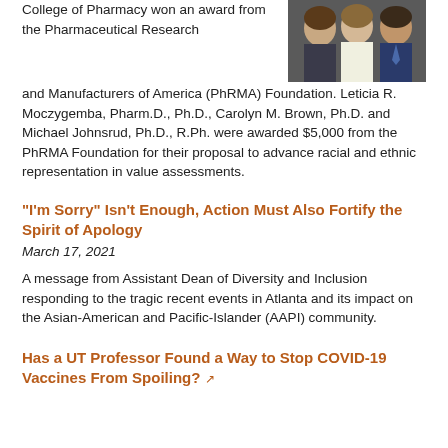[Figure (photo): Photo of three people (two women and one man) posing together, wearing professional attire]
College of Pharmacy won an award from the Pharmaceutical Research and Manufacturers of America (PhRMA) Foundation. Leticia R. Moczygemba, Pharm.D., Ph.D., Carolyn M. Brown, Ph.D. and Michael Johnsrud, Ph.D., R.Ph. were awarded $5,000 from the PhRMA Foundation for their proposal to advance racial and ethnic representation in value assessments.
"I'm Sorry" Isn't Enough, Action Must Also Fortify the Spirit of Apology
March 17, 2021
A message from Assistant Dean of Diversity and Inclusion responding to the tragic recent events in Atlanta and its impact on the Asian-American and Pacific-Islander (AAPI) community.
Has a UT Professor Found a Way to Stop COVID-19 Vaccines From Spoiling?